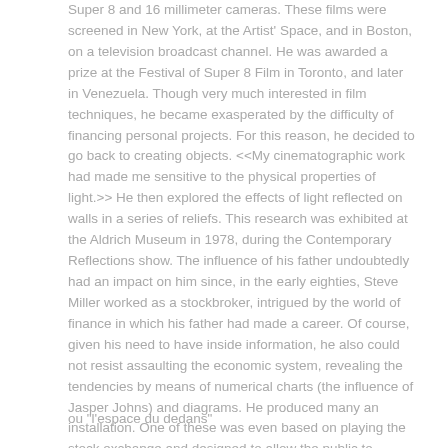Super 8 and 16 millimeter cameras. These films were screened in New York, at the Artist' Space, and in Boston, on a television broadcast channel. He was awarded a prize at the Festival of Super 8 Film in Toronto, and later in Venezuela. Though very much interested in film techniques, he became exasperated by the difficulty of financing personal projects. For this reason, he decided to go back to creating objects. <<My cinematographic work had made me sensitive to the physical properties of light.>> He then explored the effects of light reflected on walls in a series of reliefs. This research was exhibited at the Aldrich Museum in 1978, during the Contemporary Reflections show. The influence of his father undoubtedly had an impact on him since, in the early eighties, Steve Miller worked as a stockbroker, intrigued by the world of finance in which his father had made a career. Of course, given his need to have inside information, he also could not resist assaulting the economic system, revealing the tendencies by means of numerical charts (the influence of Jasper Johns) and diagrams. He produced many an installation. One of these was even based on playing the stock exchange and designed to allow the public to literally intervene on currency rates if so desired. Steve Miller wished to denounce the influence of speculation on culture. A problem that is still very much present in the Western artistic world....M.K.
ou "l'espace du dedans"